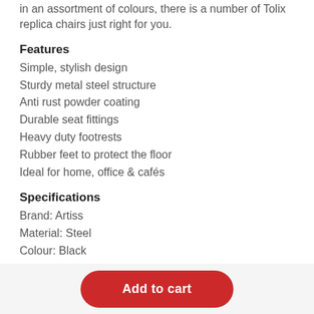in an assortment of colours, there is a number of Tolix replica chairs just right for you.
Features
Simple, stylish design
Sturdy metal steel structure
Anti rust powder coating
Durable seat fittings
Heavy duty footrests
Rubber feet to protect the floor
Ideal for home, office & cafés
Specifications
Brand: Artiss
Material: Steel
Colour: Black
Overall dimensions: 41 x 41 x 61cm
Weight capacity: 150kg
Assembly required: No
Add to cart